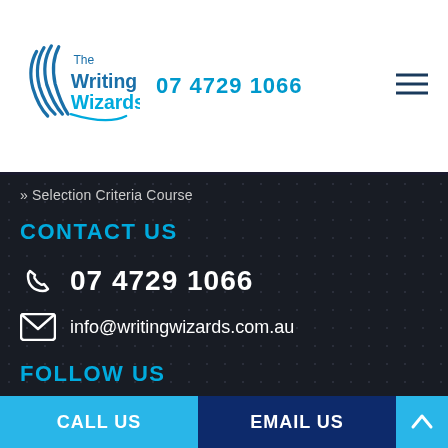The WritingWizards 07 4729 1066
» Selection Criteria Course
CONTACT US
07 4729 1066
info@writingwizards.com.au
FOLLOW US
[Figure (logo): Facebook icon circle logo in white on dark background]
© Copyright 2022 - All Right Reserved / Design By JR Technologies Web
CALL US
EMAIL US